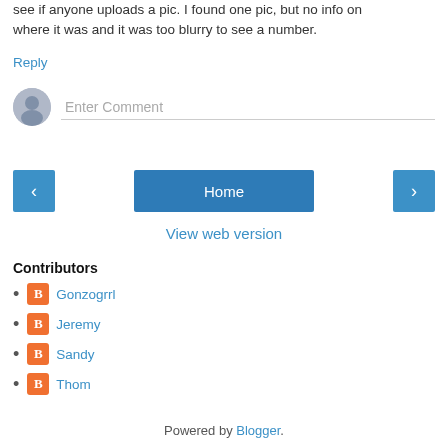see if anyone uploads a pic. I found one pic, but no info on where it was and it was too blurry to see a number.
Reply
[Figure (other): User avatar placeholder (grey silhouette) and Enter Comment input field]
[Figure (other): Navigation buttons: left arrow, Home, right arrow]
View web version
Contributors
Gonzogrrl
Jeremy
Sandy
Thom
Powered by Blogger.